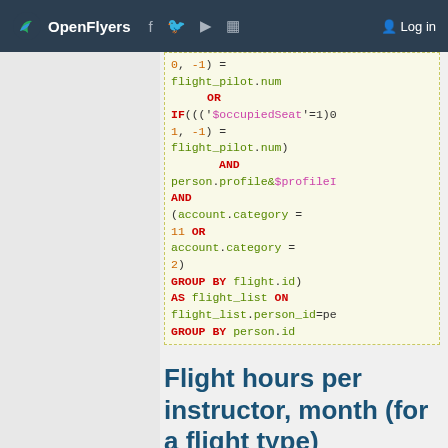OpenFlyers | Log in
0, -1) =
flight_pilot.num
    OR
IF((('$occupiedSeat'=1)0
1, -1) =
flight_pilot.num)
        AND
person.profile&$profileI
AND
(account.category =
11 OR
account.category =
2)
GROUP BY flight.id)
AS flight_list ON
flight_list.person_id=pe
GROUP BY person.id
Flight hours per instructor, month (for a flight type)